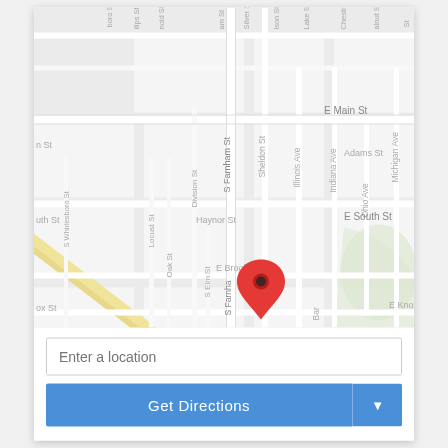[Figure (map): Street map showing intersection near S Farnham St and E South St with streets including E Main St, Haynor St, Adams St, Michigan Ave, Indiana Ave, Illinois Ave, Sheldon St, Division St, Oak St, Locust St, S Whirlesboro St, E Brooks St, S Elm St, E Knox St, Ohio Ave, Chestnut, Lake St, and others. A diagonal yellow road runs through the lower-left. A red map pin marker is placed near the center of the map around S Farnham St and E South St.]
Enter a location
Get Directions